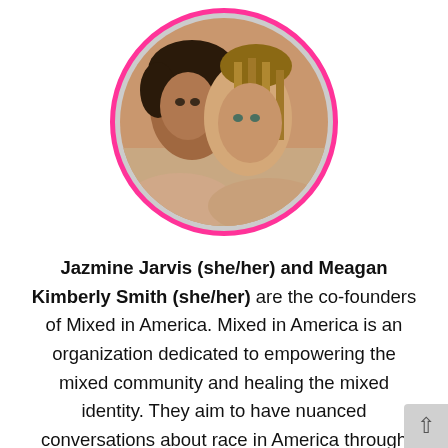[Figure (photo): Two young women of mixed race pose together in a circular portrait with a bright pink border. One leans her head against the other.]
Jazmine Jarvis (she/her) and Meagan Kimberly Smith (she/her) are the co-founders of Mixed in America. Mixed in America is an organization dedicated to empowering the mixed community and healing the mixed identity. They aim to have nuanced conversations about race in America through the mixed lens. You can find out more